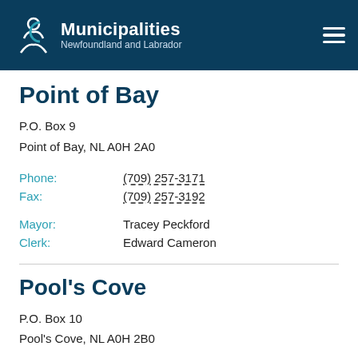Municipalities Newfoundland and Labrador
Point of Bay
P.O. Box 9
Point of Bay, NL A0H 2A0
Phone: (709) 257-3171
Fax: (709) 257-3192
Mayor: Tracey Peckford
Clerk: Edward Cameron
Pool's Cove
P.O. Box 10
Pool's Cove, NL A0H 2B0